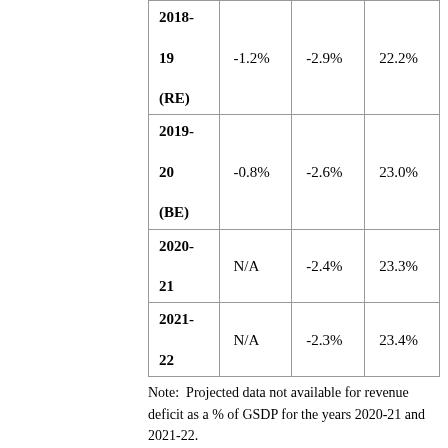| Year | Revenue Deficit % GSDP | Fiscal Deficit % GSDP | Total Expenditure % GSDP |
| --- | --- | --- | --- |
| 2018-19 (RE) | -1.2% | -2.9% | 22.2% |
| 2019-20 (BE) | -0.8% | -2.6% | 23.0% |
| 2020-21 | N/A | -2.4% | 23.3% |
| 2021-22 | N/A | -2.3% | 23.4% |
Note:  Projected data not available for revenue deficit as a % of GSDP for the years 2020-21 and 2021-22.
Sources:  Tamil Nadu Medium Term Fiscal Policy Statement 2019-20; Tamil Nadu Annual Financial